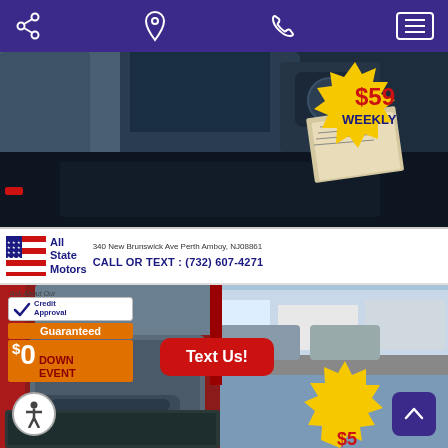[Figure (screenshot): Mobile website screenshot for All State Motors car dealership showing car interior photos, $59 weekly price badge, dealer contact info, guaranteed $0 down event badge, Text Us button, accessibility button, and scroll up button.]
340 New Brunswick Ave Perth Amboy, NJ 08861
CALL OR TEXT : (732) 607-4271
$59 WEEKLY
Ask About Our Credit Approval
Guaranteed
$0 DOWN EVENT
Text Us!